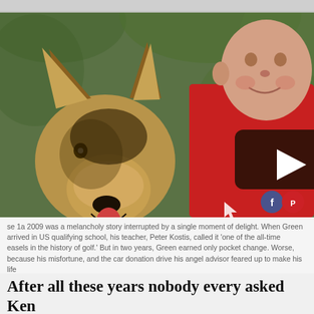[Figure (screenshot): A photo of a German Shepherd dog and a bald man in a red jacket smiling together outdoors with green foliage background. A video play button overlay (dark rounded rectangle with white triangle) is visible in the center of the image. Social media share icons (Facebook, Pinterest) appear in the bottom-right corner.]
se 1a 2009 was a melancholy story interrupted by a single moment of delight. When Green arrived in US qualifying school, his teacher, Peter Kostis, called it 'one of the all-time easels in the history of golf.' But in two years, Green earned only pocket change. Worse, because his misfortune, and the car donation drive his angel advisor feared up to make his life
After all these years nobody every asked Ken